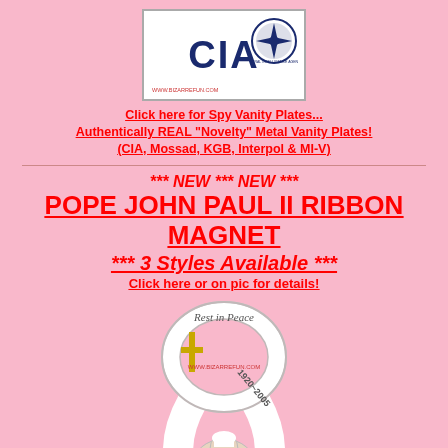[Figure (photo): CIA logo sign with CIA text in blue and CIA seal emblem on white background with grey border, watermark www.bizarrefun.com]
Click here for Spy Vanity Plates...
Authentically REAL "Novelty" Metal Vanity Plates!
(CIA, Mossad, KGB, Interpol & MI-V)
*** NEW *** NEW ***
POPE JOHN PAUL II RIBBON MAGNET
*** 3 Styles Available ***
Click here or on pic for details!
[Figure (photo): Pope John Paul II ribbon magnet showing a white ribbon with 'Rest in Peace' text at top, a cross, dates 1920-2005, and a photo of Pope John Paul II at the bottom. Watermark www.bizarrefun.com in red.]